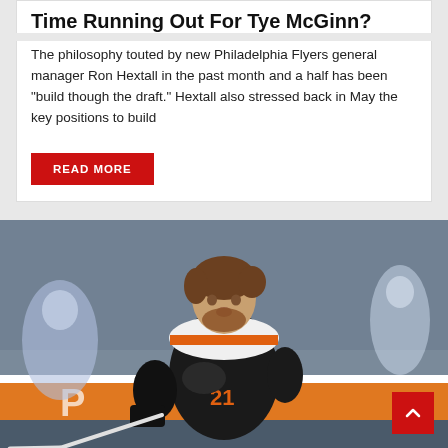Time Running Out For Tye McGinn?
The philosophy touted by new Philadelphia Flyers general manager Ron Hextall in the past month and a half has been “build though the draft.” Hextall also stressed back in May the key positions to build
READ MORE
[Figure (photo): Hockey player in Philadelphia Flyers black and white uniform skating with a stick, number 20 or 21 visible on jersey, reaching forward during a game. Crowd visible in background with a blue and orange rink board behind.]